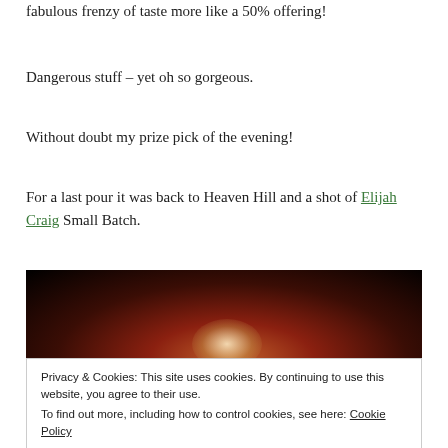fabulous frenzy of taste more like a 50% offering!
Dangerous stuff – yet oh so gorgeous.
Without doubt my prize pick of the evening!
For a last pour it was back to Heaven Hill and a shot of Elijah Craig Small Batch.
[Figure (photo): Close-up photograph of a glass of dark amber whiskey/bourbon against a black background, with a bright highlight reflection visible on the glass.]
Privacy & Cookies: This site uses cookies. By continuing to use this website, you agree to their use.
To find out more, including how to control cookies, see here: Cookie Policy
Close and accept